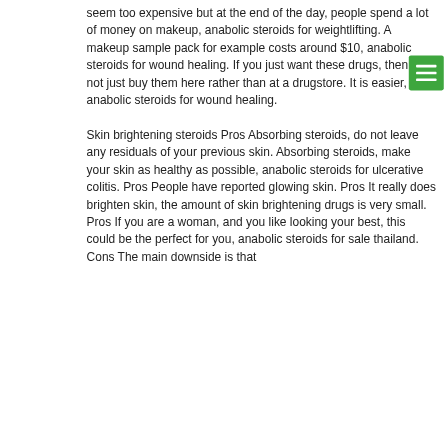seem too expensive but at the end of the day, people spend a lot of money on makeup, anabolic steroids for weightlifting. A makeup sample pack for example costs around $10, anabolic steroids for wound healing. If you just want these drugs, then why not just buy them here rather than at a drugstore. It is easier, anabolic steroids for wound healing.

Skin brightening steroids Pros Absorbing steroids, do not leave any residuals of your previous skin. Absorbing steroids, make your skin as healthy as possible, anabolic steroids for ulcerative colitis. Pros People have reported glowing skin. Pros It really does brighten skin, the amount of skin brightening drugs is very small. Pros If you are a woman, and you like looking your best, this could be the perfect for you, anabolic steroids for sale thailand. Cons The main downside is that the primary concern for the effects of the